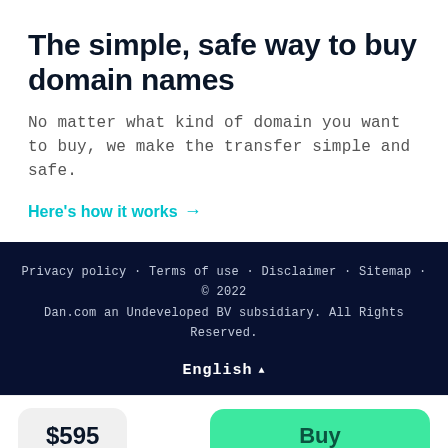The simple, safe way to buy domain names
No matter what kind of domain you want to buy, we make the transfer simple and safe.
Here's how it works →
Privacy policy · Terms of use · Disclaimer · Sitemap · © 2022 Dan.com an Undeveloped BV subsidiary. All Rights Reserved.
English ▲
$595
Buy